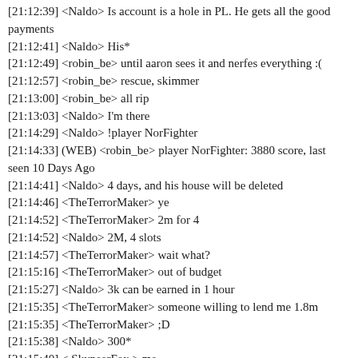[21:12:39] <Naldo> Is account is a hole in PL. He gets all the good payments
[21:12:41] <Naldo> His*
[21:12:49] <robin_be> until aaron sees it and nerfes everything :(
[21:12:57] <robin_be> rescue, skimmer
[21:13:00] <robin_be> all rip
[21:13:03] <Naldo> I'm there
[21:14:29] <Naldo> !player NorFighter
[21:14:33] (WEB) <robin_be> player NorFighter: 3880 score, last seen 10 Days Ago
[21:14:41] <Naldo> 4 days, and his house will be deleted
[21:14:46] <TheTerrorMaker> ye
[21:14:52] <TheTerrorMaker> 2m for 4
[21:14:52] <Naldo> 2M, 4 slots
[21:14:57] <TheTerrorMaker> wait what?
[21:15:16] <TheTerrorMaker> out of budget
[21:15:27] <Naldo> 3k can be earned in 1 hour
[21:15:35] <TheTerrorMaker> someone willing to lend me 1.8m
[21:15:35] <TheTerrorMaker> ;D
[21:15:38] <Naldo> 300*
[21:15:40] <.SkypeerFox.> me
[21:15:54] <TheTerrorMaker> do u even have that amt of money
[21:15:59] <Naldo> lmao
[21:16:05] <.SkypeerFox.> 45k
[21:16:10] <Naldo> ID 3 does